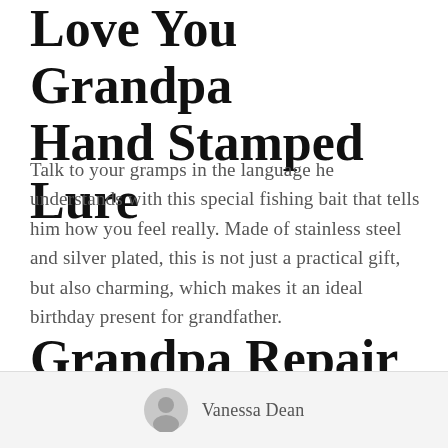Love You Grandpa Hand Stamped Lure
Talk to your gramps in the language he understands with this special fishing bait that tells him how you feel really. Made of stainless steel and silver plated, this is not just a practical gift, but also charming, which makes it an ideal birthday present for grandfather.
Grandpa Repair Shop Sign
Vanessa Dean